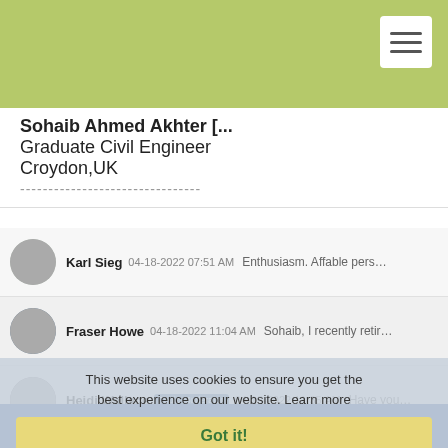Sohaib Ahmed Akhter [truncated]
Graduate Civil Engineer
Croydon,UK
--------------------------------
Karl Sieg  04-18-2022 07:51 AM  Enthusiasm. Affable pers...
Fraser Howe  04-18-2022 11:04 AM  Sohaib, I recently retir...
Heidi Wallace  Topic Moderator  04-18-2022 11:35 AM  Have you...
Sam Pappas  04-18-2022 12:10 PM  Dear Sohaib, I am the...
Yance Marti  04-19-2022 10:22 AM  I can't speak for the U...
Dudley McFadden  04-25-2022 01:14 PM  As you recogniz...
This website uses cookies to ensure you get the best experience on our website. Learn more
Got it!
Copyright © 1996 - 2019, American Society of Civil Engineers